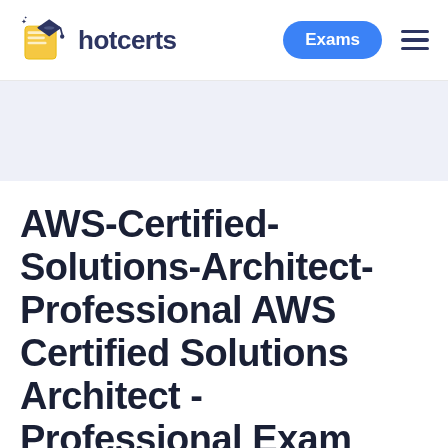hotcerts — Exams
AWS-Certified-Solutions-Architect-Professional AWS Certified Solutions Architect - Professional Exam AWS Certified Solutions Architect